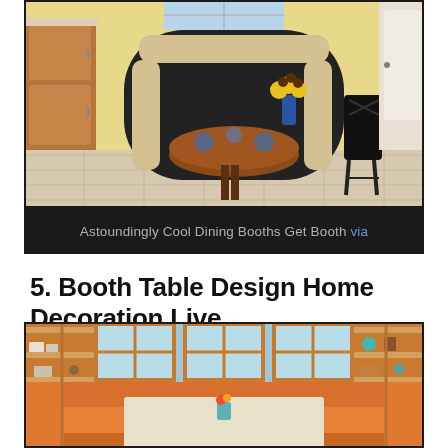[Figure (photo): Interior photo of a kitchen dining area with a curved black booth bench with cream cushions, a round wooden table, black chairs, wood cabinetry, and sunflowers in a vase.]
Astoundingly Cool Dining Booths Get Booth via
5. Booth Table Design Home Decoration Live
[Figure (photo): Interior photo of a wood dining booth with U-shaped orange/wood bench seating, a long wooden table, windows with orange frames, open shelving on both sides with dishes and decor, and a small flower vase on the table.]